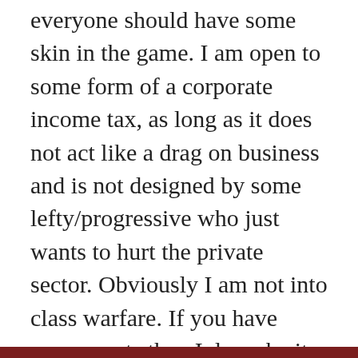everyone should have some skin in the game. I am open to some form of a corporate income tax, as long as it does not act like a drag on business and is not designed by some lefty/progressive who just wants to hurt the private sector. Obviously I am not into class warfare. If you have more assets than I do so be it. Our current tax system is